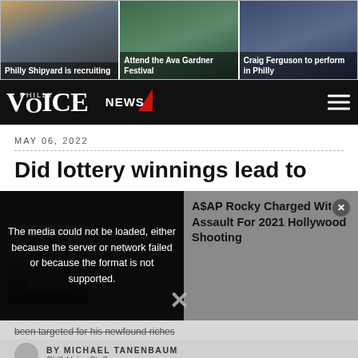[Figure (screenshot): Top navigation strip with three image tiles: 'Philly Shipyard is recruiting', 'Attend the Ava Gardner Festival', 'Craig Ferguson to perform in Philly']
[Figure (logo): PhillyVoice logo on black navbar with NEWS badge and hamburger menu]
MAY 06, 2022
Did lottery winnings lead to
[Figure (screenshot): Media player overlay showing error: 'The media could not be loaded, either because the server or network failed or because the format is not supported.' With A$AP Rocky Charged With Assault For 2021 Hollywood Shooting sidebar and X close button]
been targeted for his newfound riches
BY MICHAEL TANENBAUM
PhillyVoice Staff